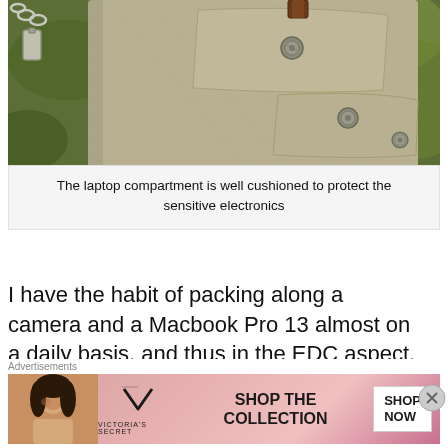[Figure (photo): Close-up photo of a khaki/olive canvas bag with metal snap buttons and multiple pockets, outdoors on green grass background]
The laptop compartment is well cushioned to protect the sensitive electronics
I have the habit of packing along a camera and a Macbook Pro 13 almost on a daily basis, and thus in the EDC aspect, a ‘proper’ EDC must allow me to minimally carry a Macbook Pro 13 and a one camera body setup. In this sense, the Scout easily
[Figure (advertisement): Victoria's Secret advertisement banner with pink gradient background, model photo, VS logo, 'SHOP THE COLLECTION' text, and 'SHOP NOW' button]